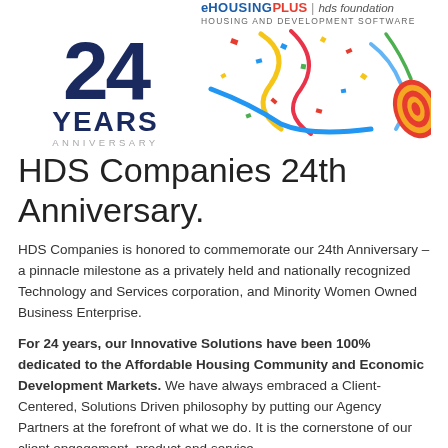[Figure (illustration): 24 Years Anniversary banner with eHousingPlus | hds foundation logo and colorful confetti celebration graphic]
HDS Companies 24th Anniversary.
HDS Companies is honored to commemorate our 24th Anniversary – a pinnacle milestone as a privately held and nationally recognized Technology and Services corporation, and Minority Women Owned Business Enterprise.
For 24 years, our Innovative Solutions have been 100% dedicated to the Affordable Housing Community and Economic Development Markets. We have always embraced a Client-Centered, Solutions Driven philosophy by putting our Agency Partners at the forefront of what we do. It is the cornerstone of our client engagement, product and service